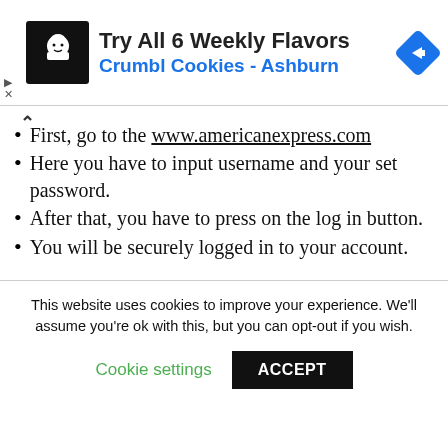[Figure (other): Advertisement banner: Crumbl Cookies logo (white cookie chef icon on black background), text 'Try All 6 Weekly Flavors' in bold and 'Crumbl Cookies - Ashburn' in blue, with a blue diamond navigation arrow icon on the right. Small play and X controls on the left.]
First, go to the www.americanexpress.com
Here you have to input username and your set password.
After that, you have to press on the log in button.
You will be securely logged in to your account.
This website uses cookies to improve your experience. We'll assume you're ok with this, but you can opt-out if you wish.
Cookie settings   ACCEPT